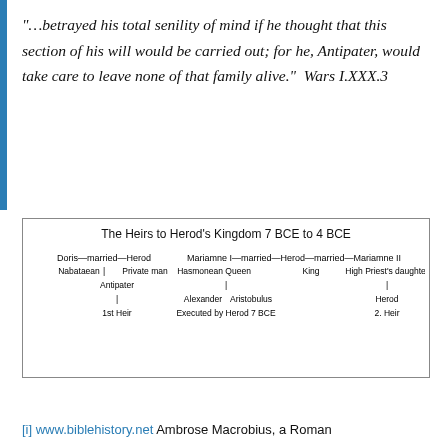“…betrayed his total senility of mind if he thought that this section of his will would be carried out; for he, Antipater, would take care to leave none of that family alive.”  Wars I.XXX.3
[Figure (organizational-chart): Genealogical/dynastic chart showing Herod's marriages and heirs. Doris (Nabataean)—married—Herod / Private man, with child Antipater (1st Heir). Mariamne I (Hasmonean Queen)—married—Herod (King)—married—Mariamne II (High Priest's daughter). Mariamne I's children: Alexander and Aristobulus, Executed by Herod 7 BCE. Mariamne II's child: Herod, 2. Heir.]
[i] www.biblehistory.net Ambrose Macrobius, a Roman